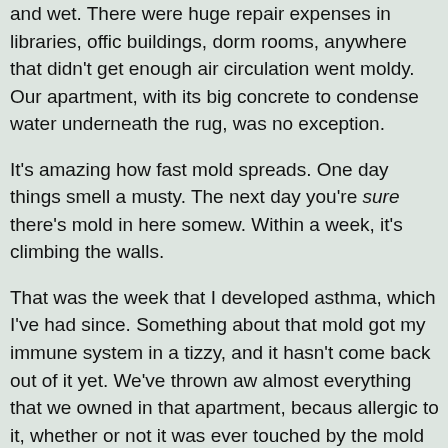and wet. There were huge repair expenses in libraries, office buildings, dorm rooms, anywhere that didn't get enough air circulation went moldy. Our apartment, with its big concrete to condense water underneath the rug, was no exception.
It's amazing how fast mold spreads. One day things smell a musty. The next day you're sure there's mold in here somewhere. Within a week, it's climbing the walls.
That was the week that I developed asthma, which I've had since. Something about that mold got my immune system in a tizzy, and it hasn't come back out of it yet. We've thrown away almost everything that we owned in that apartment, because I'm allergic to it, whether or not it was ever touched by the mold. A piece of clothing (that's been washed several times) can be left in an open room for just a few days, and it starts to get to me. We've washed. We've dry cleaned. We've aired, and sunned. We've thrown away. The smell got into our last apartment anyway, which was part of the reason that we moved.